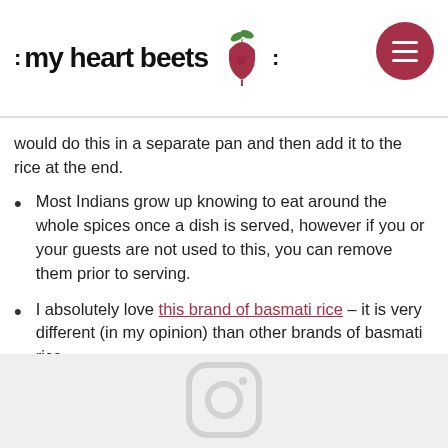[Figure (logo): My Heart Beets logo with script text and beet illustration, plus a circular dark red menu button with hamburger icon]
would do this in a separate pan and then add it to the rice at the end.
Most Indians grow up knowing to eat around the whole spices once a dish is served, however if you or your guests are not used to this, you can remove them prior to serving.
I absolutely love this brand of basmati rice – it is very different (in my opinion) than other brands of basmati rice.
[Figure (logo): Instagram camera icon, light grey, partially visible at bottom of page]